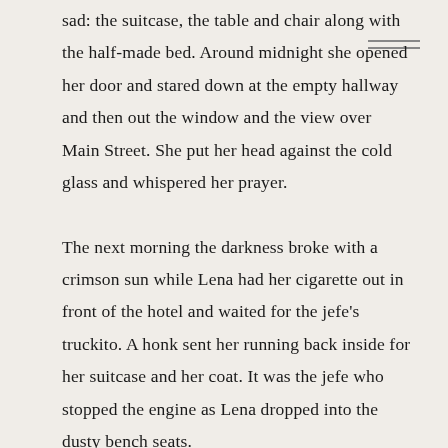sad: the suitcase, the table and chair along with the half-made bed. Around midnight she opened her door and stared down at the empty hallway and then out the window and the view over Main Street. She put her head against the cold glass and whispered her prayer.

The next morning the darkness broke with a crimson sun while Lena had her cigarette out in front of the hotel and waited for the jefe's truckito. A honk sent her running back inside for her suitcase and her coat. It was the jefe who stopped the engine as Lena dropped into the dusty bench seats.

The jefe's...